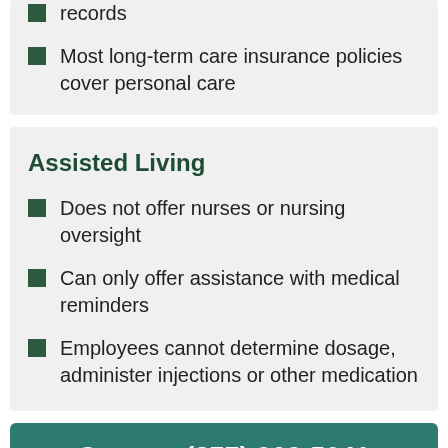records
Most long-term care insurance policies cover personal care
Assisted Living
Does not offer nurses or nursing oversight
Can only offer assistance with medical reminders
Employees cannot determine dosage, administer injections or other medication
Contact (877) 962-5041